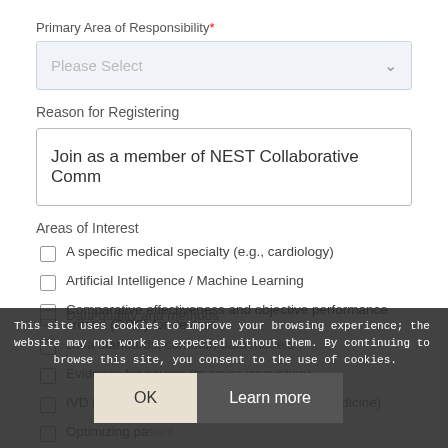Primary Area of Responsibility *
Please Select
Reason for Registering
Join as a member of NEST Collaborative Comm
Areas of Interest
A specific medical specialty (e.g., cardiology)
Artificial Intelligence / Machine Learning
Comparative effectiveness and objective performance criteria (OPC) for devices
Data quality and methods
Data standards, common data models
Evidence for payers (to cover innovation)
IVD biomarkers qualification (personalized medicine)
Optimizing patient...
Other [please specify in comments below]
This site uses cookies to improve your browsing experience; the website may not work as expected without them. By continuing to browse this site, you consent to the use of cookies.
OK
Learn more